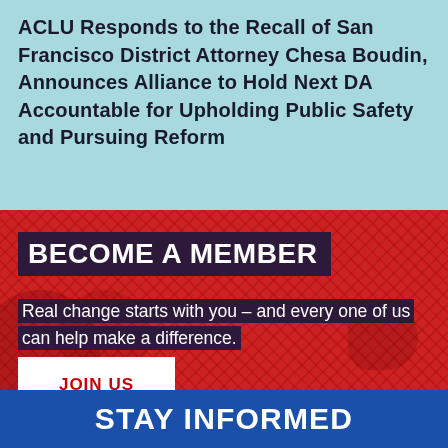ACLU Responds to the Recall of San Francisco District Attorney Chesa Boudin, Announces Alliance to Hold Next DA Accountable for Upholding Public Safety and Pursuing Reform
BECOME A MEMBER
Real change starts with you – and every one of us can help make a difference.
JOIN US
STAY INFORMED